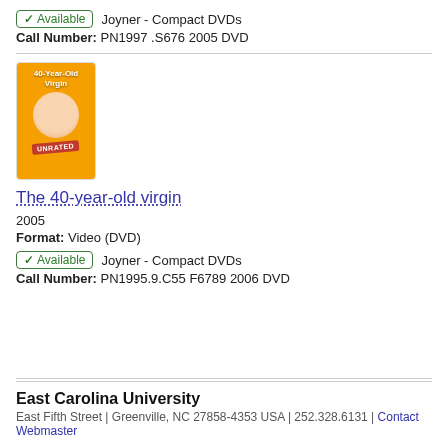✓ Available   Joyner - Compact DVDs
Call Number: PN1997 .S676 2005 DVD
[Figure (photo): DVD cover of The 40-Year-Old Virgin movie showing a smiling man on an orange background with 'UNRATED' stamp]
The 40-year-old virgin
2005
Format: Video (DVD)
✓ Available   Joyner - Compact DVDs
Call Number: PN1995.9.C55 F6789 2006 DVD
East Carolina University
East Fifth Street | Greenville, NC 27858-4353 USA | 252.328.6131 | Contact Webmaster